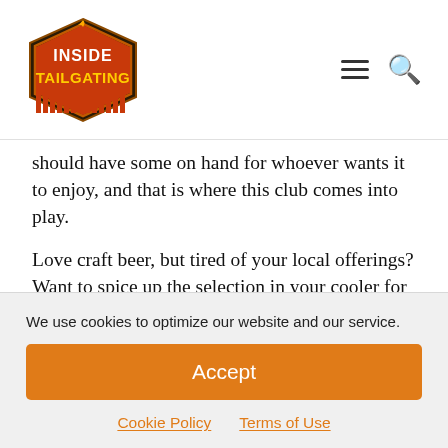[Figure (logo): Inside Tailgating logo — hexagonal badge with flame, red and orange colors, bold white text]
should have some on hand for whoever wants it to enjoy, and that is where this club comes into play.
Love craft beer, but tired of your local offerings? Want to spice up the selection in your cooler for tailgates this fall without having to purchase a bunch of new beer you might not like? The original Craft Beer Club is a great solution! This is a mail order club for craft beer
We use cookies to optimize our website and our service.
Accept
Cookie Policy
Terms of Use